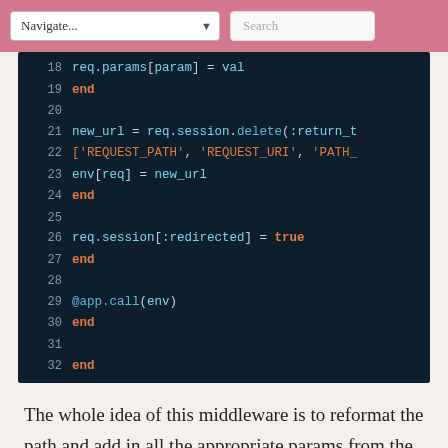Navigate... Search
[Figure (screenshot): Dark-themed code editor showing Ruby code lines 18-32, including req.params, req.session.delete, env assignment, req.session[:redirected] = true, @app.call(env), and end statements.]
The whole idea of this middleware is to reformat the path and add in all the appropriate params from the session variables, and then call the Rails application with it. Rails